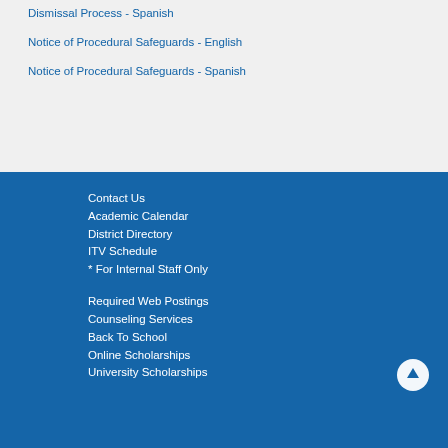Dismissal Process - Spanish
Notice of Procedural Safeguards - English
Notice of Procedural Safeguards - Spanish
Contact Us
Academic Calendar
District Directory
ITV Schedule
* For Internal Staff Only
Required Web Postings
Counseling Services
Back To School
Online Scholarships
University Scholarships